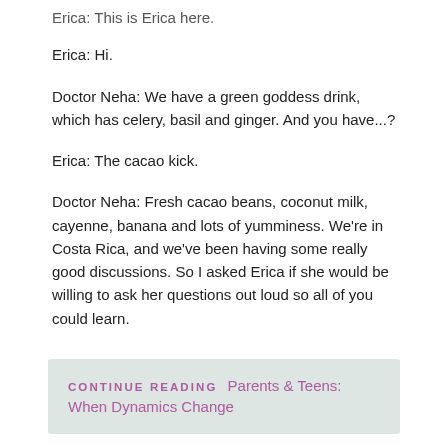Erica: This is Erica here.
Erica: Hi.
Doctor Neha: We have a green goddess drink, which has celery, basil and ginger. And you have...?
Erica: The cacao kick.
Doctor Neha: Fresh cacao beans, coconut milk, cayenne, banana and lots of yumminess. We're in Costa Rica, and we've been having some really good discussions. So I asked Erica if she would be willing to ask her questions out loud so all of you could learn.
CONTINUE READING  Parents & Teens: When Dynamics Change